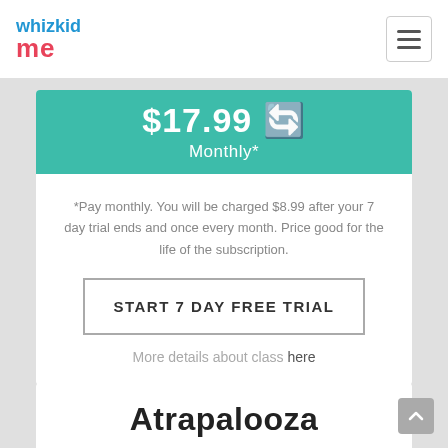whizkid me
$17.99 Monthly*
*Pay monthly. You will be charged $8.99 after your 7 day trial ends and once every month. Price good for the life of the subscription.
START 7 DAY FREE TRIAL
More details about class here
Atrapalooza